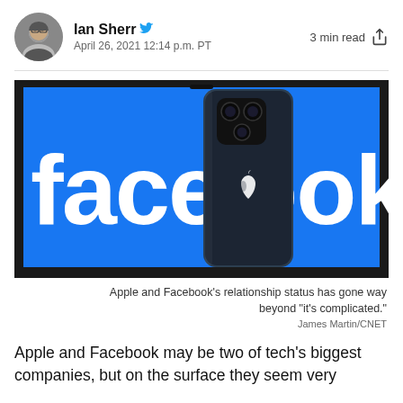Ian Sherr
April 26, 2021 12:14 p.m. PT
3 min read
[Figure (photo): An iPhone propped up in front of a screen displaying the Facebook logo in white text on a blue background. The Apple logo is visible on the back of the phone.]
Apple and Facebook's relationship status has gone way beyond "it's complicated."
James Martin/CNET
Apple and Facebook may be two of tech's biggest companies, but on the surface they seem very